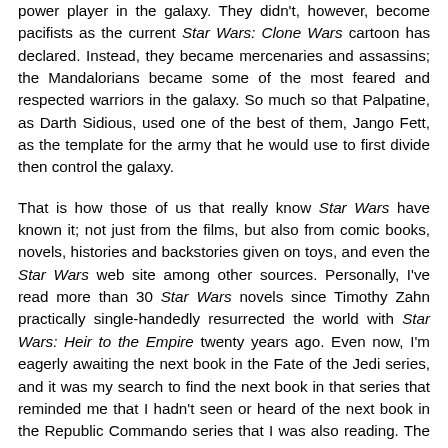power player in the galaxy. They didn't, however, become pacifists as the current Star Wars: Clone Wars cartoon has declared. Instead, they became mercenaries and assassins; the Mandalorians became some of the most feared and respected warriors in the galaxy. So much so that Palpatine, as Darth Sidious, used one of the best of them, Jango Fett, as the template for the army that he would use to first divide then control the galaxy.
That is how those of us that really know Star Wars have known it; not just from the films, but also from comic books, novels, histories and backstories given on toys, and even the Star Wars web site among other sources. Personally, I've read more than 30 Star Wars novels since Timothy Zahn practically single-handedly resurrected the world with Star Wars: Heir to the Empire twenty years ago. Even now, I'm eagerly awaiting the next book in the Fate of the Jedi series, and it was my search to find the next book in that series that reminded me that I hadn't seen or heard of the next book in the Republic Commando series that I was also reading. The last book, under the new series name Imperial Commando, was 501st chronicling some of the missions of Vader's elite troops, and furthering the escape plans of some of